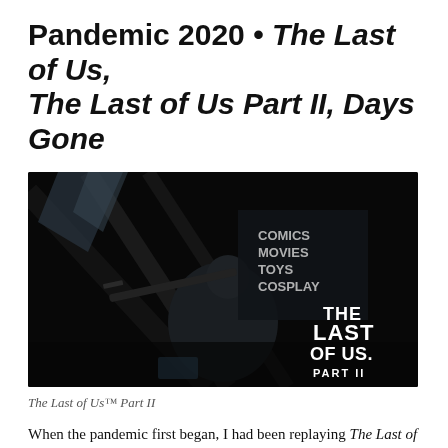Pandemic 2020 • The Last of Us, The Last of Us Part II, Days Gone
[Figure (screenshot): Dark screenshot from The Last of Us Part II showing a character with a rifle in a dimly lit indoor space with a store sign reading COMICS MOVIES TOYS COSPLAY. The Last of Us Part II logo appears in the bottom right corner in white bold text.]
The Last of Us™ Part II
When the pandemic first began, I had been replaying The Last of Us Remastered to prepare myself for The Last of Us